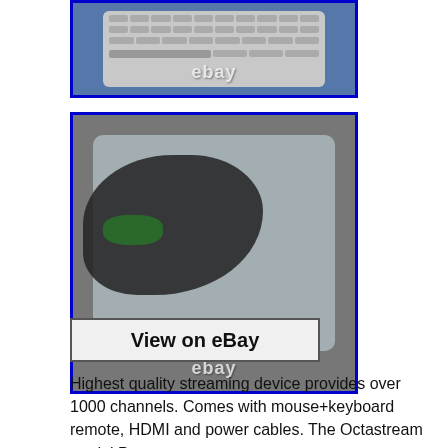[Figure (photo): Photo of a keyboard/remote control device against a blue background, with eBay watermark]
[Figure (photo): Photo of cables wrapped in plastic packaging against a blue border background, with eBay watermark]
View on eBay
Highest quality streaming device provides over 1000 channels. Comes with mouse+keyboard remote, HDMI and power cables. The Octastream model Pro+